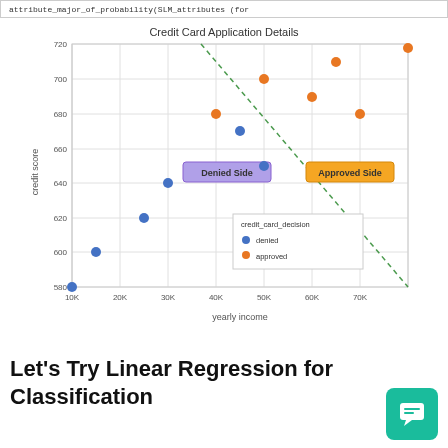attribute_major_of_probability(SLM_attributes (for
[Figure (scatter-plot): Scatter plot of credit score vs yearly income with decision boundary line. Blue dots = denied, orange dots = approved. Denied Side label on left, Approved Side label on right. Dashed green diagonal line separates the two groups.]
Let's Try Linear Regression for Classification